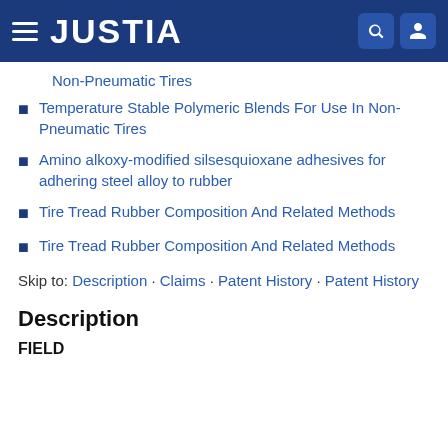JUSTIA
Non-Pneumatic Tires
Temperature Stable Polymeric Blends For Use In Non-Pneumatic Tires
Amino alkoxy-modified silsesquioxane adhesives for adhering steel alloy to rubber
Tire Tread Rubber Composition And Related Methods
Tire Tread Rubber Composition And Related Methods
Skip to: Description · Claims · Patent History · Patent History
Description
FIELD